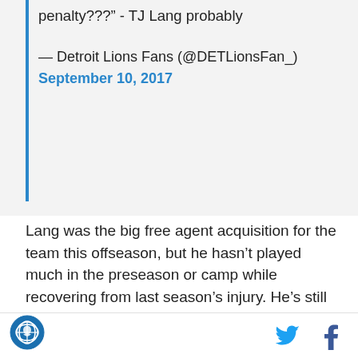penalty???" - TJ Lang probably
— Detroit Lions Fans (@DETLionsFan_)
September 10, 2017
Lang was the big free agent acquisition for the team this offseason, but he hasn't played much in the preseason or camp while recovering from last season's injury. He's still brushing the dust off and was responsible for an early penalty as well as several poor blocks in the game. He was credited with another penalty later, though it was actually Rick Wagner as the culprit. Lang is going to be a big part of the Lions' success this year, so the sooner he gets games like